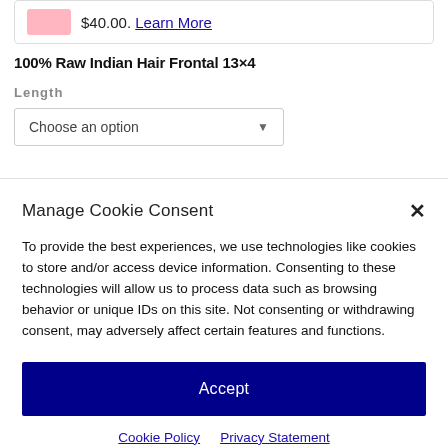$40.00. Learn More
100% Raw Indian Hair Frontal 13×4
Length
Choose an option
Manage Cookie Consent
To provide the best experiences, we use technologies like cookies to store and/or access device information. Consenting to these technologies will allow us to process data such as browsing behavior or unique IDs on this site. Not consenting or withdrawing consent, may adversely affect certain features and functions.
Accept
Cookie Policy   Privacy Statement